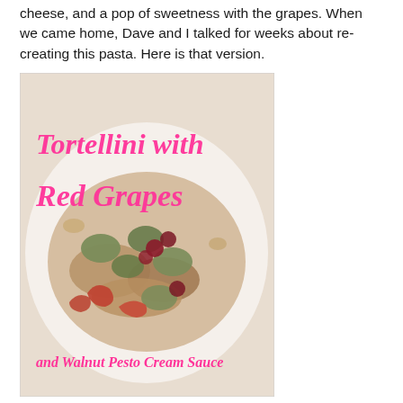cheese, and a pop of sweetness with the grapes. When we came home, Dave and I talked for weeks about re-creating this pasta. Here is that version.
[Figure (photo): Photo of tortellini with red grapes and walnut pesto cream sauce on a white plate, with pink cursive text overlay reading 'Tortellini with Red Grapes and Walnut Pesto Cream Sauce']
It is one of Finnegan's favorites and it comes together quickly for a weeknight meal. We usually serve with a big salad and some bread.
You will need:
1/2 c walnuts, lightly toasted
1/2 c pesto {make your own or used jarred, I've done both}